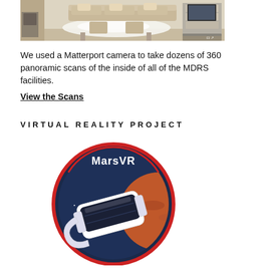[Figure (photo): Interior photo of MDRS facility showing a dining/living area with beige furniture, a white table, chairs, and equipment in the background. Screenshot includes small video player controls visible in bottom-right corner.]
We used a Matterport camera to take dozens of 360 panoramic scans of the inside of all of the MDRS facilities.
View the Scans
VIRTUAL REALITY PROJECT
[Figure (logo): Mars VR circular logo featuring a VR headset in front of a dark navy blue circle with stars, a red arc border, and the text 'Mars VR' at the top in white lettering. A partial view of a rusty/orange Mars-like planet is visible on the right side.]